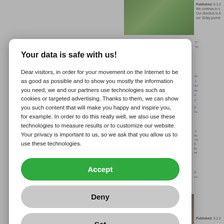[Figure (screenshot): Background webpage showing travel blog content with a park photo in top right, partially obscured by modal overlay]
Your data is safe with us!
Dear visitors, in order for your movement on the Internet to be as good as possible and to show you mostly the information you need, we and our partners use technologies such as cookies or targeted advertising. Thanks to them, we can show you such content that will make you happy and inspire you, for example. In order to do this really well, we also use these technologies to measure results or to customize our website. Your privacy is important to us, so we ask that you allow us to use these technologies.
Accept
Deny
Set